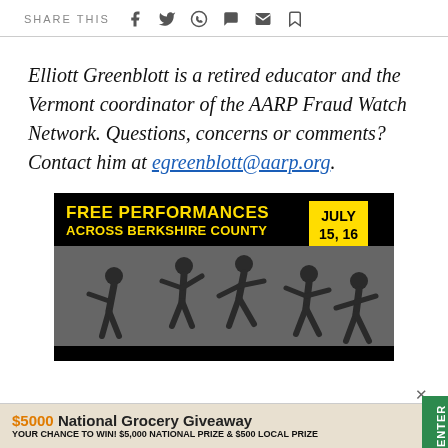SHARE THIS [social icons: facebook, twitter, whatsapp, chat, email, bookmark]
Elliott Greenblott is a retired educator and the Vermont coordinator of the AARP Fraud Watch Network. Questions, concerns or comments? Contact him at egreenblott@aarp.org.
[Figure (photo): Advertisement: FREE PERFORMANCES ACROSS BERKSHIRE COUNTY, JULY 15, 16, 17, 21. Photo of dancers performing.]
[Figure (infographic): Bottom banner ad: $5000 National Grocery Giveaway. YOUR CHANCE TO WIN! $5,000 National Prize & $500 Local Prize. Green ENTER button.]